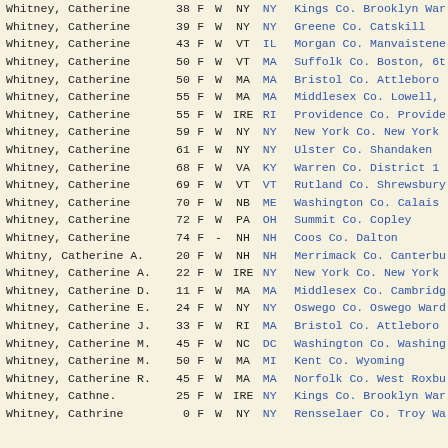| Name | Age | Sex | Race | Birth | Res | Location |
| --- | --- | --- | --- | --- | --- | --- |
| Whitney, Catherine | 38 | F | W | NY | NY | Kings Co. Brooklyn War |
| Whitney, Catherine | 39 | F | W | NY | NY | Greene Co. Catskill |
| Whitney, Catherine | 43 | F | W | VT | IL | Morgan Co. Manvaistene |
| Whitney, Catherine | 50 | F | W | VT | MA | Suffolk Co. Boston, 6t |
| Whitney, Catherine | 50 | F | W | MA | MA | Bristol Co. Attleborou |
| Whitney, Catherine | 55 | F | W | MA | MA | Middlesex Co. Lowell, |
| Whitney, Catherine | 55 | F | W | IRE | RI | Providence Co. Provide |
| Whitney, Catherine | 59 | F | W | NY | NY | New York Co. New York |
| Whitney, Catherine | 61 | F | W | NY | NY | Ulster Co. Shandaken |
| Whitney, Catherine | 68 | F | W | VA | KY | Warren Co. District 1 |
| Whitney, Catherine | 69 | F | W | VT | VT | Rutland Co. Shrewsbury |
| Whitney, Catherine | 70 | F | W | NB | ME | Washington Co. Calais |
| Whitney, Catherine | 72 | F | W | PA | OH | Summit Co. Copley |
| Whitney, Catherine | 74 | F | - | NH | NH | Coos Co. Dalton |
| Whitny, Catherine A. | 20 | F | W | NH | NH | Merrimack Co. Canterbu |
| Whitney, Catherine A. | 22 | F | W | IRE | NY | New York Co. New York |
| Whitney, Catherine D. | 11 | F | W | MA | MA | Middlesex Co. Cambridge |
| Whitney, Catherine E. | 24 | F | W | NY | NY | Oswego Co. Oswego Ward |
| Whitney, Catherine J. | 33 | F | W | RI | MA | Bristol Co. Attleborou |
| Whitney, Catherine M. | 45 | F | W | NC | DC | Washington Co. Washing |
| Whitney, Catherine M. | 50 | F | W | MA | MI | Kent Co. Wyoming |
| Whitney, Catherine R. | 45 | F | W | MA | MA | Norfolk Co. West Roxbu |
| Whitney, Cathne. | 25 | F | W | IRE | NY | Kings Co. Brooklyn War |
| Whitney, Cathrine | 0 | F | W | NY | NY | Rensselaer Co. Troy Wa |